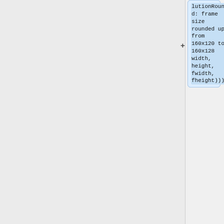lutionRounded: frame size rounded up from 160x120 to 160x128 width, height, fwidth, fheight)))
angle
0.0
throttle
0.14949491866817224
throttle